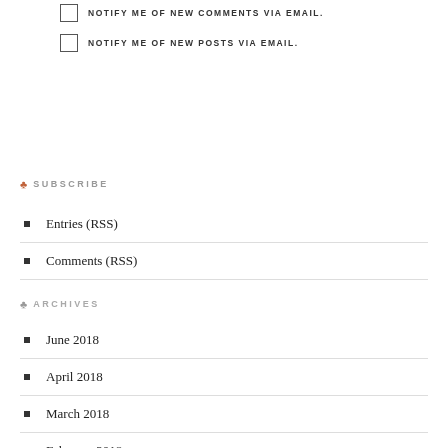NOTIFY ME OF NEW COMMENTS VIA EMAIL.
NOTIFY ME OF NEW POSTS VIA EMAIL.
SUBSCRIBE
Entries (RSS)
Comments (RSS)
ARCHIVES
June 2018
April 2018
March 2018
February 2018
November 2017